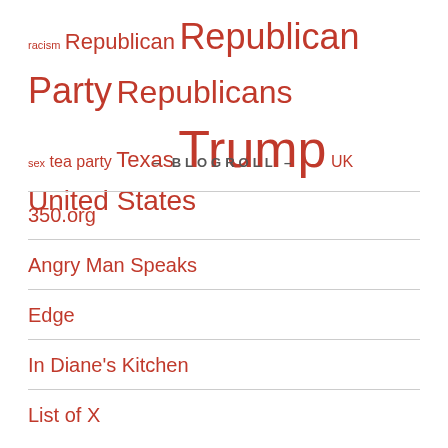racism Republican Republican Party Republicans sex tea party Texas Trump UK United States
– BLOGROLL –
350.org
Angry Man Speaks
Edge
In Diane's Kitchen
List of X